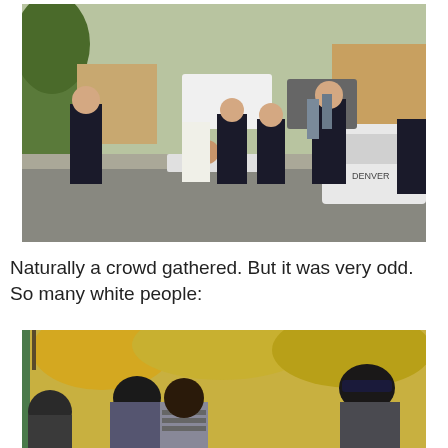[Figure (photo): Police officers and medics attending to a person on a gurney/stretcher in a street. Multiple officers in dark uniforms standing around. Police cruiser visible on right side. Residential neighborhood with trees and brick buildings in background. Cars parked in background.]
Naturally a crowd gathered. But it was very odd. So many white people:
[Figure (photo): A crowd of people gathered, viewed from behind. People wearing hats and casual clothes. Yellow autumn trees visible in background. Crowd appears to be watching something off-frame.]